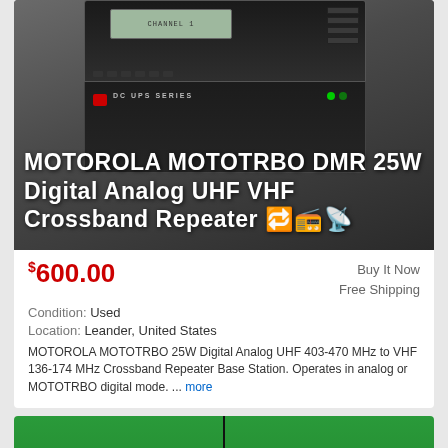[Figure (photo): Product photo of Motorola MOTOTRBO DMR radio and DC UPS unit, with white overlay text of product title]
$600.00
Buy It Now
Free Shipping
Condition: Used
Location: Leander, United States
MOTOROLA MOTOTRBO 25W Digital Analog UHF 403-470 MHz to VHF 136-174 MHz Crossband Repeater Base Station. Operates in analog or MOTOTRBO digital mode. ... more
[Figure (photo): Partial view of a green product (antenna or accessory) from below/cropped]